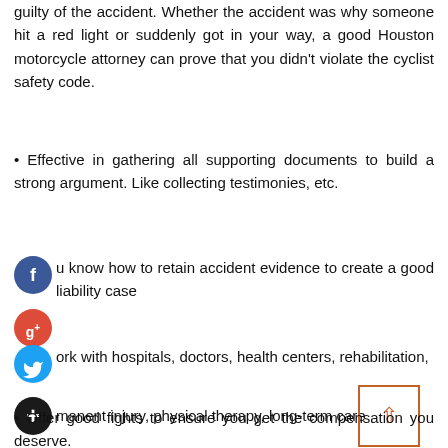guilty of the accident. Whether the accident was why someone hit a red light or suddenly got in your way, a good Houston motorcycle attorney can prove that you didn't violate the cyclist safety code.
• Effective in gathering all supporting documents to build a strong argument. Like collecting testimonies, etc.
• [Facebook icon] u know how to retain accident evidence to create a good liability case
[Twitter icon] ork with hospitals, doctors, health centers, rehabilitation, [plus icon] manent injury, physical therapy, long-term care
• Offer good fights to ensure you get the compensation you deserve.